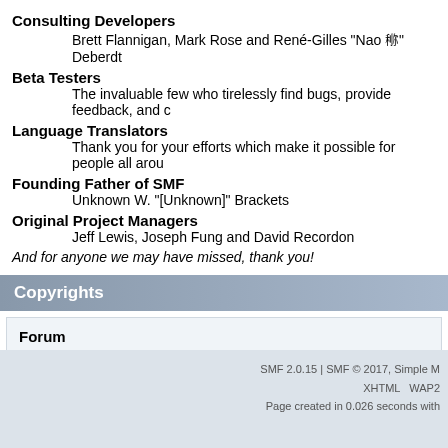Consulting Developers
Brett Flannigan, Mark Rose and René-Gilles "Nao 鈿" Deberdt
Beta Testers
The invaluable few who tirelessly find bugs, provide feedback, and c
Language Translators
Thank you for your efforts which make it possible for people all arou
Founding Father of SMF
Unknown W. "[Unknown]" Brackets
Original Project Managers
Jeff Lewis, Joseph Fung and David Recordon
And for anyone we may have missed, thank you!
Copyrights
Forum
SMF 2.0.15 | SMF © 2017, Simple Machines
SMF 2.0.15 | SMF © 2017, Simple M XHTML WAP2 Page created in 0.026 seconds with